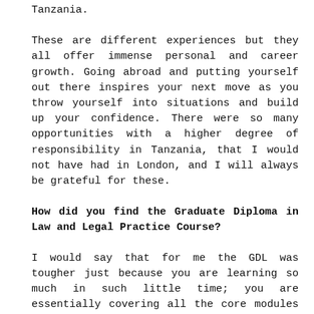Tanzania.
These are different experiences but they all offer immense personal and career growth. Going abroad and putting yourself out there inspires your next move as you throw yourself into situations and build up your confidence. There were so many opportunities with a higher degree of responsibility in Tanzania, that I would not have had in London, and I will always be grateful for these.
How did you find the Graduate Diploma in Law and Legal Practice Course?
I would say that for me the GDL was tougher just because you are learning so much in such little time; you are essentially covering all the core modules of a law degree in a year which is shocking when you try and explain it to anyone outside of law or foreign-qualified. The GDL is the first time you learn to change how you answer different exam questions. In Geography, you answer completely differently; it is very much an essay and you go through with all of your evidence and readings. It is more of a creative process of